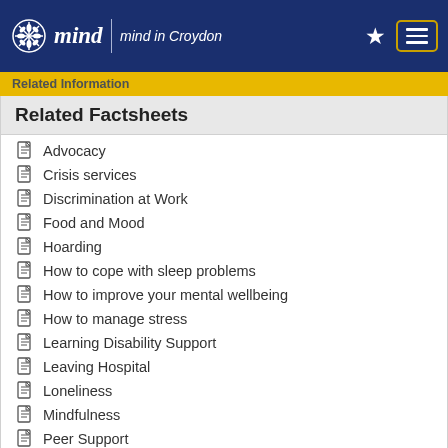mind | Mind in Croydon
Related Information
Related Factsheets
Advocacy
Crisis services
Discrimination at Work
Food and Mood
Hoarding
How to cope with sleep problems
How to improve your mental wellbeing
How to manage stress
Learning Disability Support
Leaving Hospital
Loneliness
Mindfulness
Peer Support
Post-traumatic stress disorder (PTSD)
Service Definitions
Advice/Information